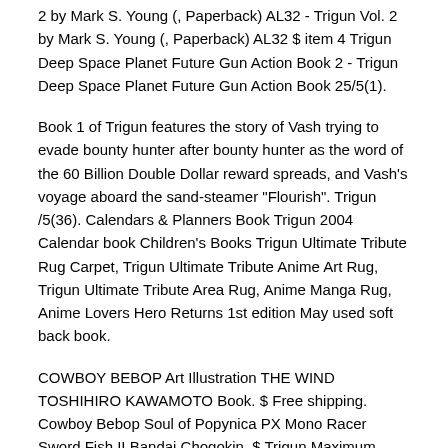2 by Mark S. Young (, Paperback) AL32 - Trigun Vol. 2 by Mark S. Young (, Paperback) AL32 $ item 4 Trigun Deep Space Planet Future Gun Action Book 2 - Trigun Deep Space Planet Future Gun Action Book 25/5(1).
Book 1 of Trigun features the story of Vash trying to evade bounty hunter after bounty hunter as the word of the 60 Billion Double Dollar reward spreads, and Vash's voyage aboard the sand-steamer "Flourish". Trigun /5(36). Calendars & Planners Book Trigun 2004 Calendar book Children's Books Trigun Ultimate Tribute Rug Carpet, Trigun Ultimate Tribute Anime Art Rug, Trigun Ultimate Tribute Area Rug, Anime Manga Rug, Anime Lovers Hero Returns 1st edition May used soft back book.
COWBOY BEBOP Art Illustration THE WIND TOSHIHIRO KAWAMOTO Book. $ Free shipping. Cowboy Bebop Soul of Popynica PX Mono Racer Sword Fish II Bandai Chogokin. $ Trigun Maximum Calendar Yasuhiro Nightow Vintage Japanese Anime Rare F/S.
$ Free shipping. Trigun Maximum Calendar End date: Local holidays are not listed, holidays on past calendars might not be correct.